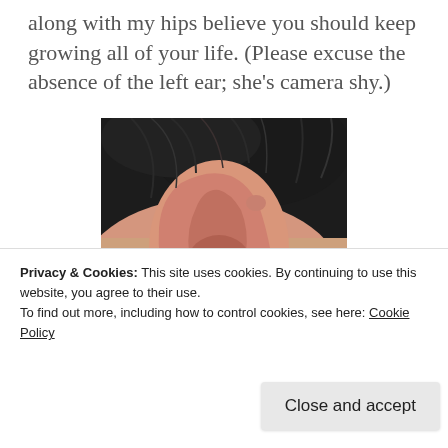along with my hips believe you should keep growing all of your life. (Please excuse the absence of the left ear; she's camera shy.)
[Figure (photo): Close-up photograph of a human right ear with dark hair visible in the background. The ear is shown in profile against a light skin-toned background.]
Privacy & Cookies: This site uses cookies. By continuing to use this website, you agree to their use.
To find out more, including how to control cookies, see here: Cookie Policy